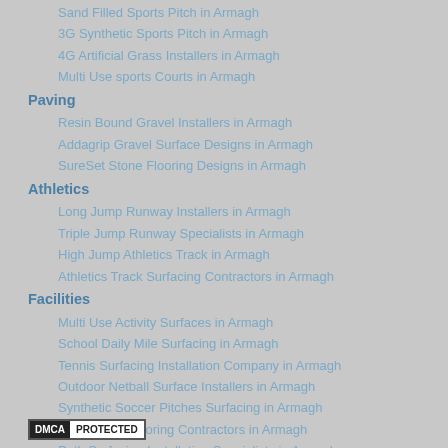Sand Filled Sports Pitch in Armagh
3G Synthetic Sports Pitch in Armagh
4G Artificial Grass Installers in Armagh
Multi Use sports Courts in Armagh
Paving
Resin Bound Gravel Installers in Armagh
Addagrip Gravel Surface Designs in Armagh
SureSet Stone Flooring Designs in Armagh
Athletics
Long Jump Runway Installers in Armagh
Triple Jump Runway Specialists in Armagh
High Jump Athletics Track in Armagh
Athletics Track Surfacing Contractors in Armagh
Facilities
Multi Use Activity Surfaces in Armagh
School Daily Mile Surfacing in Armagh
Tennis Surfacing Installation Company in Armagh
Outdoor Netball Surface Installers in Armagh
Synthetic Soccer Pitches Surfacing in Armagh
Playground Flooring Contractors in Armagh
Path Surfacing Installation Specialists in Armagh
[Figure (logo): DMCA Protected badge]